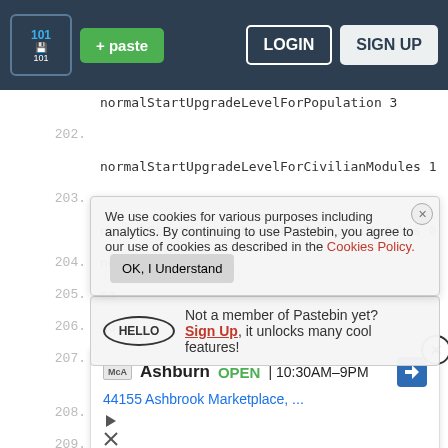+ paste  LOGIN  SIGN UP
normalStartUpgradeLevelForPopulation 3
202.
normalStartUpgradeLevelForCivilianModules 1
203.
normalStartUpgradeLevelForTacticalModules 0
204.
We use cookies for various purposes including analytics. By continuing to use Pastebin, you agree to our use of cookies as described in the Cookies Policy. OK, I Understand
205.
no
206.
qu
Not a member of Pastebin yet? Sign Up, it unlocks many cool features!
207.
quickStartUpgradeLevelForCivilianModules 1
208.
Ashburn OPEN 10:30AM-9PM 44155 Ashbrook Marketplace, ...
209.
facts